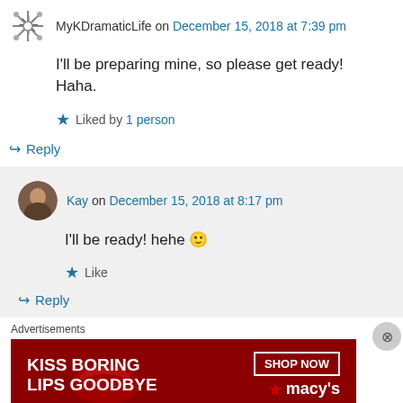MyKDramaticLife on December 15, 2018 at 7:39 pm
I'll be preparing mine, so please get ready! Haha.
Liked by 1 person
↳ Reply
Kay on December 15, 2018 at 8:17 pm
I'll be ready! hehe 🙂
Like
↳ Reply
Advertisements
[Figure (illustration): Macy's advertisement banner: KISS BORING LIPS GOODBYE with SHOP NOW button and Macy's star logo on dark red background]